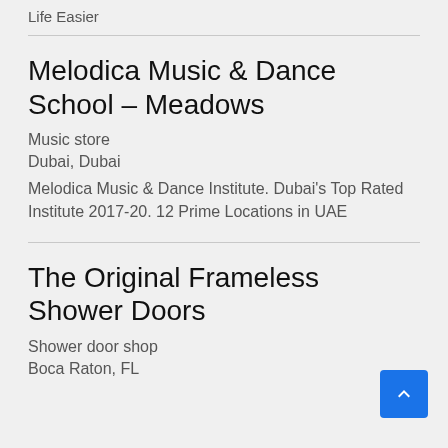Life Easier
Melodica Music & Dance School – Meadows
Music store
Dubai, Dubai
Melodica Music & Dance Institute. Dubai's Top Rated Institute 2017-20. 12 Prime Locations in UAE
The Original Frameless Shower Doors
Shower door shop
Boca Raton, FL